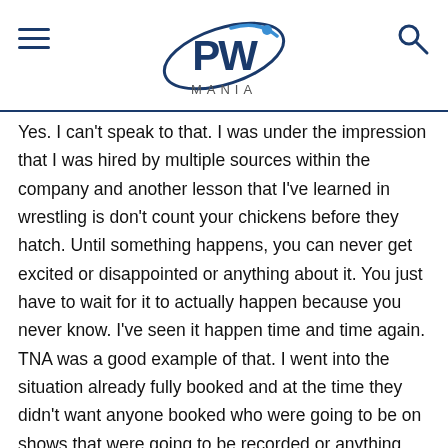PW MANIA
Yes. I can't speak to that. I was under the impression that I was hired by multiple sources within the company and another lesson that I've learned in wrestling is don't count your chickens before they hatch. Until something happens, you can never get excited or disappointed or anything about it. You just have to wait for it to actually happen because you never know. I've seen it happen time and time again. TNA was a good example of that. I went into the situation already fully booked and at the time they didn't want anyone booked who were going to be on shows that were going to be recorded or anything like that. It would have been nice on one hand to be there but on the other hand I didn't need to be there. But I was under the impression that I was going to be there. This was from sources within the company and also a personal friend actually. I'm actually friends with Nick Hogan, who's obviously dad is Hulk. Hulk was actually the